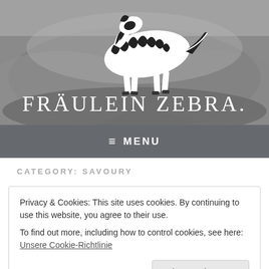[Figure (illustration): Header banner with a zebra illustration running across a rocky/textured grey background, with the text FRÄULEIN ZEBRA. in white display font below the zebra]
≡  MENU
CATEGORY: SAVOURY
Privacy & Cookies: This site uses cookies. By continuing to use this website, you agree to their use.
To find out more, including how to control cookies, see here: Unsere Cookie-Richtlinie
Close and accept